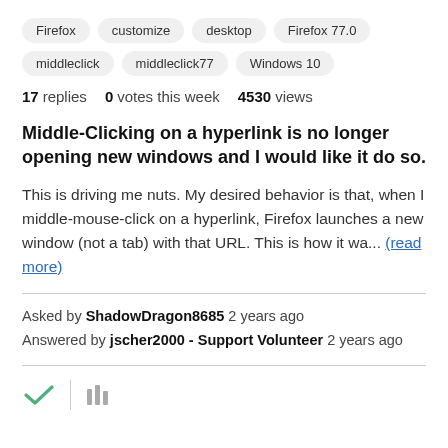Firefox
customize
desktop
Firefox 77.0
middleclick
middleclick77
Windows 10
17 replies  0 votes this week  4530 views
Middle-Clicking on a hyperlink is no longer opening new windows and I would like it do so.
This is driving me nuts. My desired behavior is that, when I middle-mouse-click on a hyperlink, Firefox launches a new window (not a tab) with that URL. This is how it wa... (read more)
Asked by ShadowDragon8685 2 years ago
Answered by jscher2000 - Support Volunteer 2 years ago